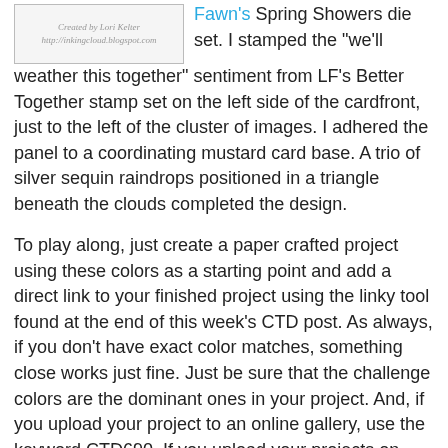[Figure (other): Card image thumbnail with handwritten attribution 'Created by Lori Kelter http://inkingcloud.blogspot.com']
Fawn's Spring Showers die set. I stamped the "we'll weather this together" sentiment from LF's Better Together stamp set on the left side of the cardfront, just to the left of the cluster of images. I adhered the panel to a coordinating mustard card base. A trio of silver sequin raindrops positioned in a triangle beneath the clouds completed the design.
To play along, just create a paper crafted project using these colors as a starting point and add a direct link to your finished project using the linky tool found at the end of this week's CTD post.  As always, if you don't have exact color matches, something close works just fine.  Just be sure that the challenge colors are the dominant ones in your project.  And, if you upload your project to an online gallery, use the keyword CTD690.  If you upload your projects on social media, go ahead and use the hashtag #ctd690 and #colorthrowdown.  You can find us on Instagram and on Facebook with the username colorthrowdown.  Before you get started, here's some inspiration from the talented Color Throwdown teamand this week's Guest Star Star...